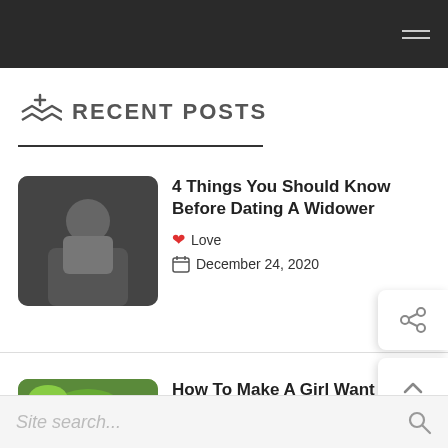RECENT POSTS
[Figure (photo): Thumbnail image of a person with dark background for 'Dating A Widower' post]
4 Things You Should Know Before Dating A Widower
❤ Love
December 24, 2020
[Figure (photo): Thumbnail image of a couple outdoors with flowers for 'Make A Girl Want You' post]
How To Make A Girl Want You And Get Her Attention
🧡 Teenage Love
December 1, 2020
Site search...